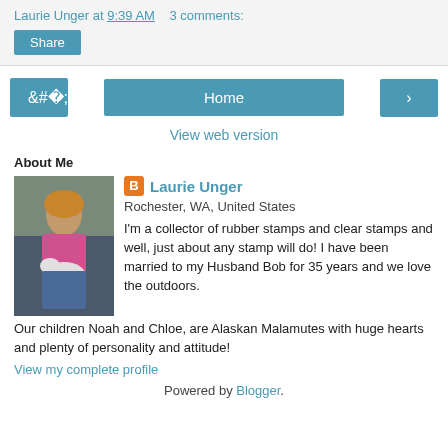Laurie Unger at 9:39 AM   3 comments:
Share
‹
Home
›
View web version
About Me
[Figure (photo): Profile photo of Laurie Unger holding a dog]
Laurie Unger
Rochester, WA, United States
I'm a collector of rubber stamps and clear stamps and well, just about any stamp will do! I have been married to my Husband Bob for 35 years and we love the outdoors. Our children Noah and Chloe, are Alaskan Malamutes with huge hearts and plenty of personality and attitude!
View my complete profile
Powered by Blogger.